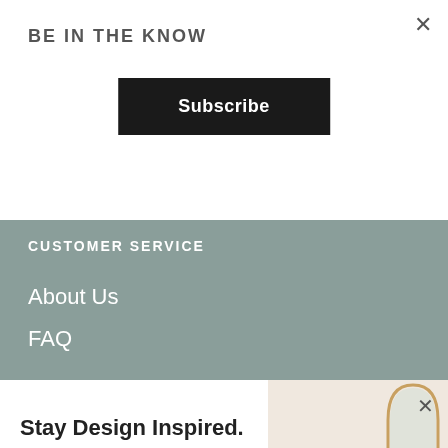×
BE IN THE KNOW
Subscribe
CUSTOMER SERVICE
About Us
FAQ
Stay Design Inspired.
Endless inspiration delivered straight to your inbox (and a few cheeky discount codes).
Drop your email here!
Continue
No Thanks
[Figure (photo): Woman arranging plants in a Scandinavian-style dining room with wooden furniture, a round table, rattan chairs, a white lamp, and an arched mirror on the wall]